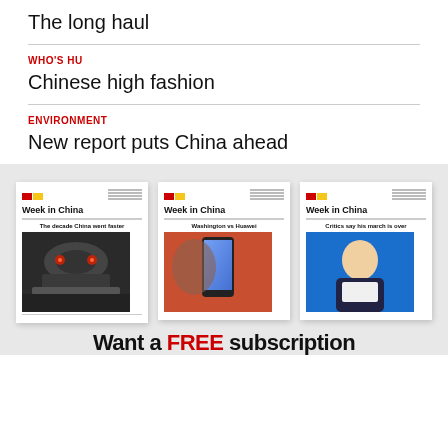The long haul
WHO'S HU
Chinese high fashion
ENVIRONMENT
New report puts China ahead
[Figure (illustration): Three 'Week in China' magazine covers shown side by side. Left cover: 'The decade China went faster' with train photo. Middle cover: 'Washington vs Huawei' with phone/person photo. Right cover: 'Critics say his march is over' with person on blue background.]
Want a FREE subscription